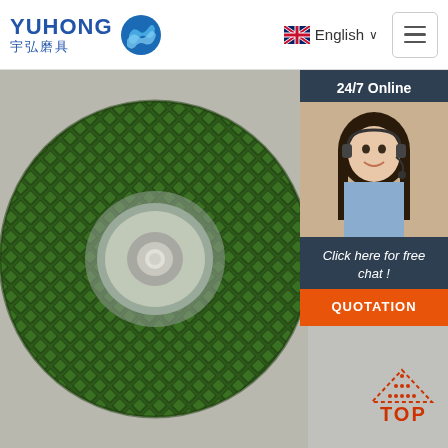[Figure (logo): YUHONG 宇弘磨具 company logo with blue wave/swirl icon]
English ∨
[Figure (photo): Green textured grinding/abrasive disc wheel with diamond pattern surface and center metal hub, photographed on grey background]
24/7 Online
[Figure (photo): Customer service representative woman with headset smiling]
Click here for free chat !
QUOTATION
TOP